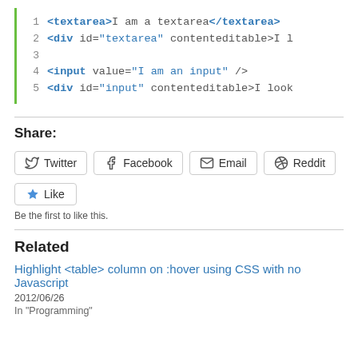[Figure (screenshot): Code snippet showing HTML textarea and div elements with line numbers 1-5 and a green left border]
Share:
Twitter Facebook Email Reddit
Like
Be the first to like this.
Related
Highlight <table> column on :hover using CSS with no Javascript
2012/06/26
In "Programming"